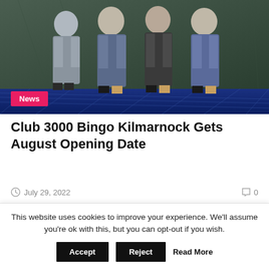[Figure (photo): Group of men in suits standing together at an indoor venue with a patterned carpet floor]
Club 3000 Bingo Kilmarnock Gets August Opening Date
July 29, 2022  0
Leave a Reply
Your email address will not be published. Required fields are marked *
This website uses cookies to improve your experience. We'll assume you're ok with this, but you can opt-out if you wish.